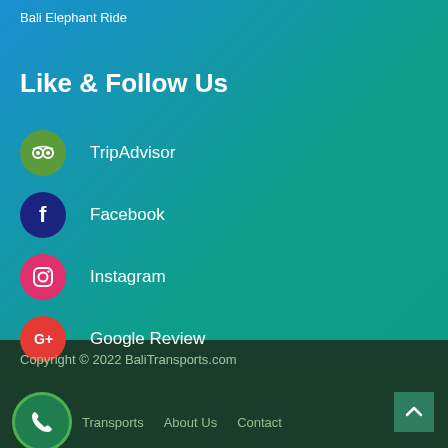Bali Elephant Ride
Like & Follow Us
TripAdvisor
Facebook
Instagram
Google Review
Copyright © 2022 BaliTransports.com
Transports   About Us   Contact